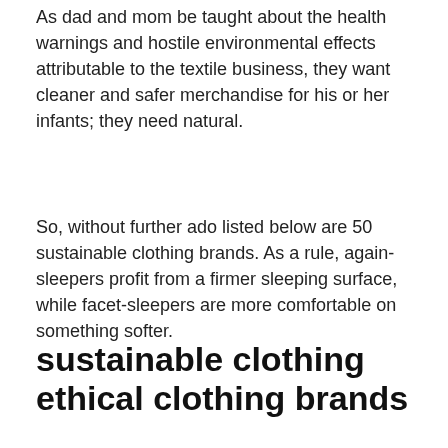As dad and mom be taught about the health warnings and hostile environmental effects attributable to the textile business, they want cleaner and safer merchandise for his or her infants; they need natural.
So, without further ado listed below are 50 sustainable clothing brands. As a rule, again-sleepers profit from a firmer sleeping surface, while facet-sleepers are more comfortable on something softer.
sustainable clothing ethical clothing brands
The important thing to styling an oversized chain link is to distinction the size with one thing more delicate like a single diamond necklace. I can not stand it once I read sustainable style round-ups and the one factor underneath $one hundred is a white t-shirt so I wanted to round up a